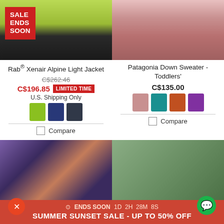[Figure (photo): Man wearing green Rab jacket with SALE ENDS SOON badge overlay]
[Figure (photo): Toddler Patagonia pink down sweater]
Rab® Xenair Alpine Light Jacket
C$262.46 (strikethrough original price)
C$196.85 LIMITED TIME
U.S. Shipping Only
[Figure (other): Color swatches: green, navy, dark gray]
Compare
Patagonia Down Sweater - Toddlers'
C$135.00
[Figure (other): Color swatches: pink, teal, orange, purple]
Compare
[Figure (photo): Person wearing striped fleece jacket]
[Figure (photo): Woman wearing green puffer jacket]
ENDS SOON 1D 2H 28M 8S
SUMMER SUNSET SALE - UP TO 50% OFF